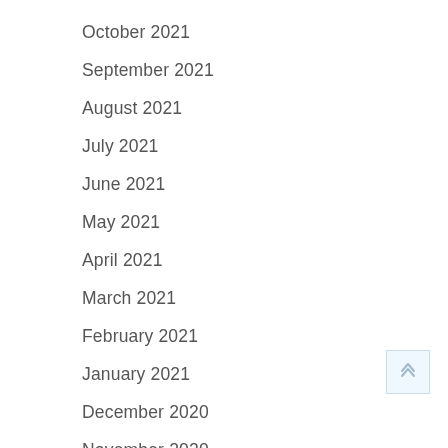October 2021
September 2021
August 2021
July 2021
June 2021
May 2021
April 2021
March 2021
February 2021
January 2021
December 2020
November 2020